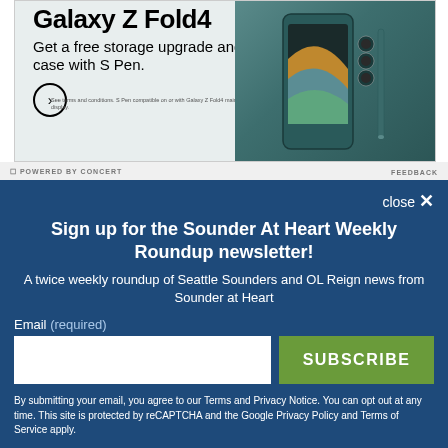[Figure (screenshot): Samsung Galaxy Z Fold4 advertisement showing phone with S Pen and text: Get a free storage upgrade and case with S Pen.]
Sign up for the Sounder At Heart Weekly Roundup newsletter!
A twice weekly roundup of Seattle Sounders and OL Reign news from Sounder at Heart
Email (required)
SUBSCRIBE
By submitting your email, you agree to our Terms and Privacy Notice. You can opt out at any time. This site is protected by reCAPTCHA and the Google Privacy Policy and Terms of Service apply.